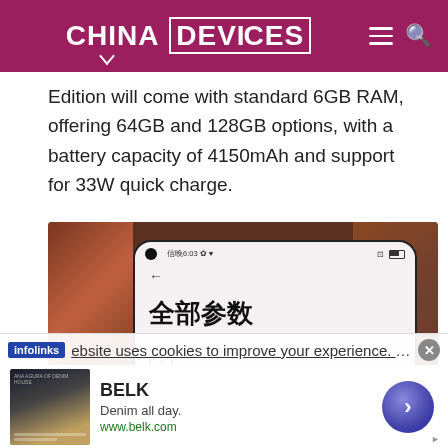CHINA DEVICES
Edition will come with standard 6GB RAM, offering 64GB and 128GB options, with a battery capacity of 4150mAh and support for 33W quick charge.
[Figure (photo): Photo of a smartphone showing a Chinese-language settings screen with text '全部参数' (All parameters), displayed on a black-bordered device against a brown blurred background.]
This website uses cookies to improve your experience. We'll
[Figure (infographic): Advertisement banner for BELK brand showing 'Denim all day.' tagline and www.belk.com URL, with a fashion photo thumbnail and a circular arrow button.]